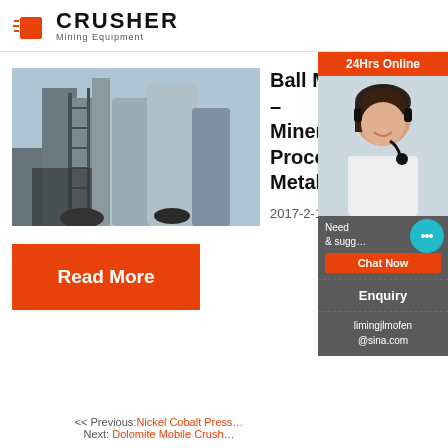[Figure (logo): Crusher Mining Equipment logo with red shopping bag icon and bold CRUSHER text]
[Figure (photo): Industrial mineral processing plant with large silos and machinery against a sky background]
Ball Mills – Mineral Processing & Metallurgy
2017-2-1
Read More
[Figure (photo): 24Hrs Online chat support agent - woman with headset smiling, with chat now button and enquiry section]
<< Previous: Nickel Cobalt Press...
Next: Dolomite Mobile Crush...